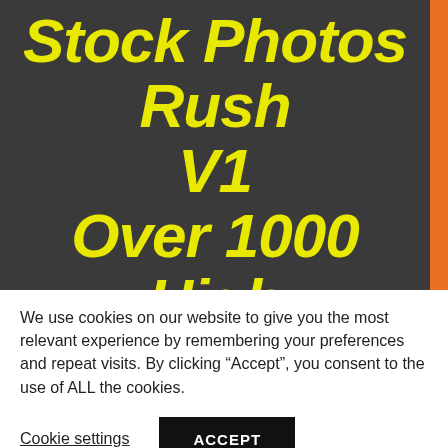[Figure (screenshot): Dark banner with yellow italic bold text reading 'Stock Photos Rush V1 Over 1000 High Quality Photos Resolution: 1920 x' on a dark gray background with an orange vertical bar on the right side.]
We use cookies on our website to give you the most relevant experience by remembering your preferences and repeat visits. By clicking “Accept”, you consent to the use of ALL the cookies.
Cookie settings
ACCEPT